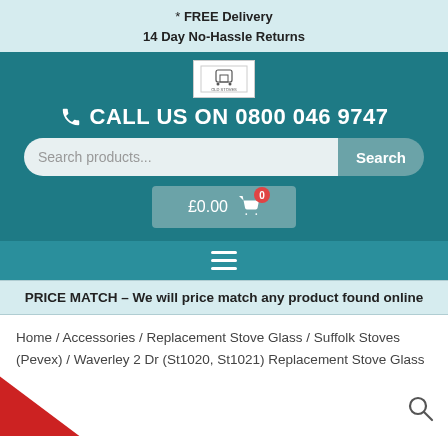* FREE Delivery
14 Day No-Hassle Returns
[Figure (logo): Store logo in white box]
CALL US ON 0800 046 9747
Search products...  Search
£0.00  0
[Figure (other): Hamburger menu icon]
PRICE MATCH – We will price match any product found online
Home / Accessories / Replacement Stove Glass / Suffolk Stoves (Pevex) / Waverley 2 Dr (St1020, St1021) Replacement Stove Glass
[Figure (photo): Bottom partial product image with red element visible at bottom left, and search icon at bottom right]